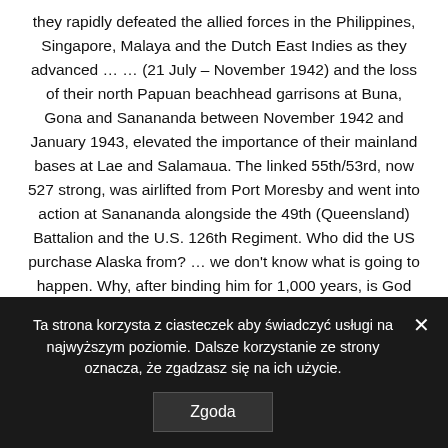they rapidly defeated the allied forces in the Philippines, Singapore, Malaya and the Dutch East Indies as they advanced … … (21 July – November 1942) and the loss of their north Papuan beachhead garrisons at Buna, Gona and Sanananda between November 1942 and January 1943, elevated the importance of their mainland bases at Lae and Salamaua. The linked 55th/53rd, now 527 strong, was airlifted from Port Moresby and went into action at Sanananda alongside the 49th (Queensland) Battalion and the U.S. 126th Regiment. Who did the US purchase Alaska from? … we don't know what is going to happen. Why, after binding him for 1,000 years, is God going to release Satan? Yet the story of these battles is often overlooked, meaning that their challenges, their tragedy and their significance
Ta strona korzysta z ciasteczek aby świadczyć usługi na najwyższym poziomie. Dalsze korzystanie ze strony oznacza, że zgadzasz się na ich użycie.
Zgoda